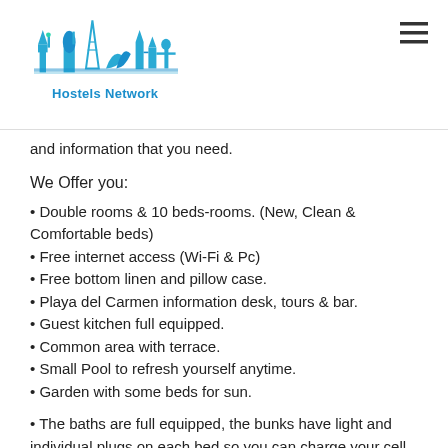Hostels Network
and information that you need.
We Offer you:
Double rooms & 10 beds-rooms. (New, Clean & Comfortable beds)
Free internet access (Wi-Fi & Pc)
Free bottom linen and pillow case.
Playa del Carmen information desk, tours & bar.
Guest kitchen full equipped.
Common area with terrace.
Small Pool to refresh yourself anytime.
Garden with some beds for sun.
The baths are full equipped, the bunks have light and individual plugs on each bed so you can charge your cell phone, lap top or your iPod at night.